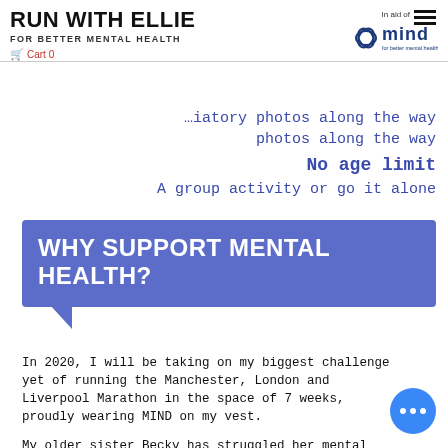RUN WITH ELLIE
FOR BETTER MENTAL HEALTH
Cart 0
…iatory photos along the way
No age limit
A group activity or go it alone
WHY SUPPORT MENTAL HEALTH?
In 2020, I will be taking on my biggest challenge yet of running the Manchester, London and Liverpool Marathon in the space of 7 weeks, proudly wearing MIND on my vest.

My older sister Becky has struggled her mental health her whole life. A support from CAHMS as a teen, she was